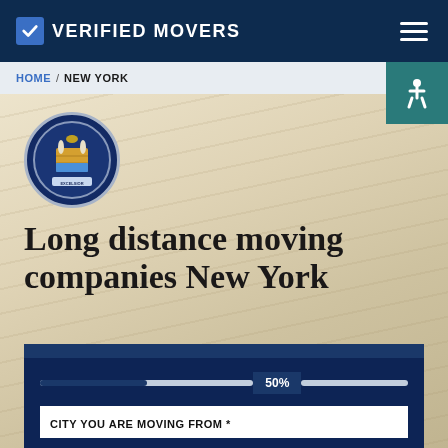VERIFIED MOVERS
HOME / NEW YORK
[Figure (logo): New York State seal — circular blue badge with state coat of arms]
Long distance moving companies New York
Get Your Instant Moving Quote
50%
CITY YOU ARE MOVING FROM *